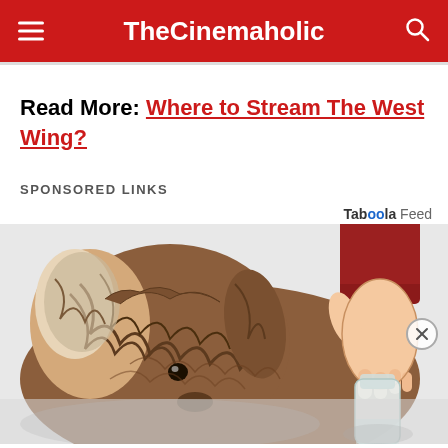TheCinemaholic
Read More: Where to Stream The West Wing?
SPONSORED LINKS
Taboola Feed
[Figure (illustration): Illustrated dog with shaggy brown fur looking at a hand holding a water bottle dispenser; faded reflection below on light gray background. Advertisement image from Taboola feed.]